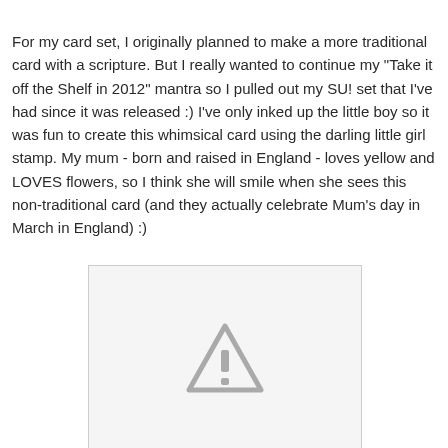For my card set, I originally planned to make a more traditional card with a scripture.  But I really wanted to continue my "Take it off the Shelf in 2012" mantra so I pulled out my SU! set that I've had since it was released :)  I've only inked up the little boy so it was fun to create this whimsical card using the darling little girl stamp.  My mum - born and raised in England - loves yellow and LOVES flowers, so I think she will smile when she sees this non-traditional card (and they actually celebrate Mum's day in March in England) :)
[Figure (photo): Image placeholder with a warning/caution triangle icon indicating the image could not be loaded]